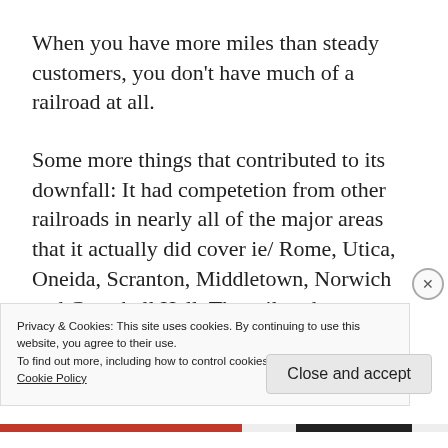When you have more miles than steady customers, you don't have much of a railroad at all.
Some more things that contributed to its downfall: It had competetion from other railroads in nearly all of the major areas that it actually did cover ie/ Rome, Utica, Oneida, Scranton, Middletown, Norwich and Campbell Hall. The railroad was expensive to operate in the...
Privacy & Cookies: This site uses cookies. By continuing to use this website, you agree to their use.
To find out more, including how to control cookies, see here: Cookie Policy
Close and accept